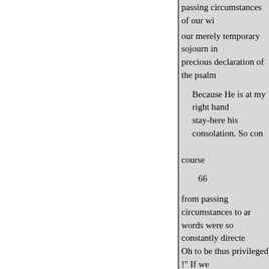passing circumstances of our wi
our merely temporary sojourn in
precious declaration of the psalm
Because He is at my right hand stay-here his consolation. So con
course
66
from passing circumstances to an words were so constantly directe Oh to be thus privileged !" If we
' once before stated how much one of our great poets, as inserte
His hand the good man fast And bids earth roll,
Nor feels her idle whirl." Ah, of Christ; a fleeing to and a shelt heaven and earth; a knowledge o How blessed is the prophet's test